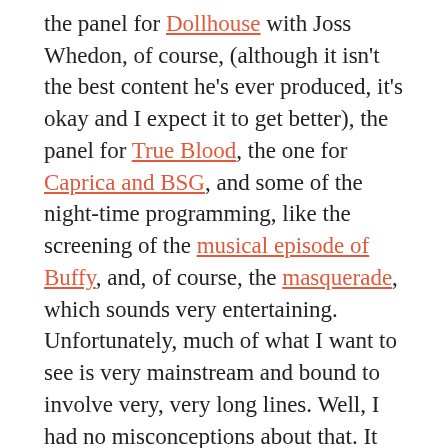the panel for Dollhouse with Joss Whedon, of course, (although it isn't the best content he's ever produced, it's okay and I expect it to get better), the panel for True Blood, the one for Caprica and BSG, and some of the night-time programming, like the screening of the musical episode of Buffy, and, of course, the masquerade, which sounds very entertaining.
Unfortunately, much of what I want to see is very mainstream and bound to involve very, very long lines. Well, I had no misconceptions about that. It will give me plenty of time to 'people watch,' which, if you've ever been to one of these things, is one of the best parts. It should be a very exciting experience overall. That being said, I will have to do my best to avoid the Twilighters who are bound to congregate. I'm also going to have to miss things because of conflicting